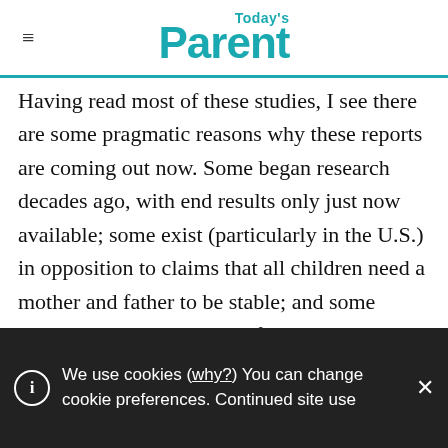Today's Parent
Having read most of these studies, I see there are some pragmatic reasons why these reports are coming out now. Some began research decades ago, with end results only just now available; some exist (particularly in the U.S.) in opposition to claims that all children need a mother and father to be stable; and some revisit older studies where flaws have since been found in the method of research. (For example, one research team realized that most of their
We use cookies (why?) You can change cookie preferences. Continued site use